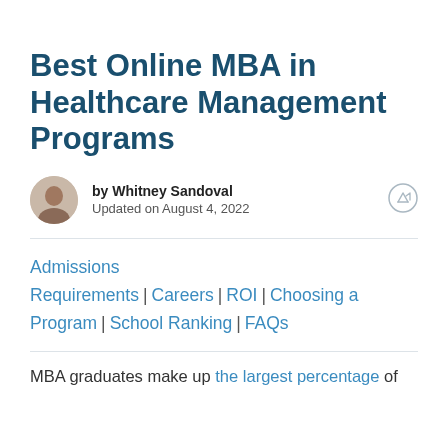Best Online MBA in Healthcare Management Programs
by Whitney Sandoval
Updated on August 4, 2022
Admissions Requirements | Careers | ROI | Choosing a Program | School Ranking | FAQs
MBA graduates make up the largest percentage of